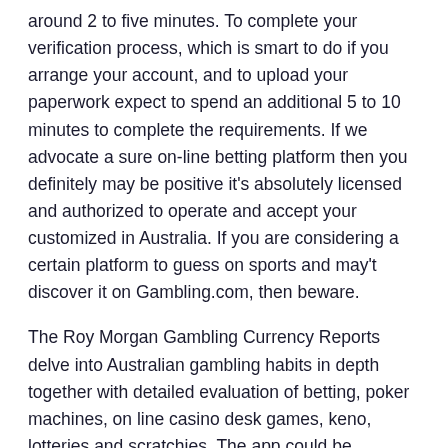around 2 to five minutes. To complete your verification process, which is smart to do if you arrange your account, and to upload your paperwork expect to spend an additional 5 to 10 minutes to complete the requirements. If we advocate a sure on-line betting platform then you definitely may be positive it's absolutely licensed and authorized to operate and accept your customized in Australia. If you are considering a certain platform to guess on sports and may't discover it on Gambling.com, then beware.
The Roy Morgan Gambling Currency Reports delve into Australian gambling habits in depth together with detailed evaluation of betting, poker machines, on line casino desk games, keno, lotteries and scratchies. The app could be downloaded directly from the bet365 web site or of their respective app stores. The app provides customers the same betting